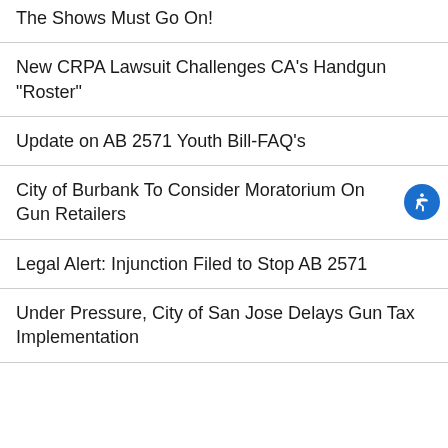The Shows Must Go On!
New CRPA Lawsuit Challenges CA's Handgun "Roster"
Update on AB 2571 Youth Bill-FAQ's
City of Burbank To Consider Moratorium On Gun Retailers
Legal Alert: Injunction Filed to Stop AB 2571
Under Pressure, City of San Jose Delays Gun Tax Implementation